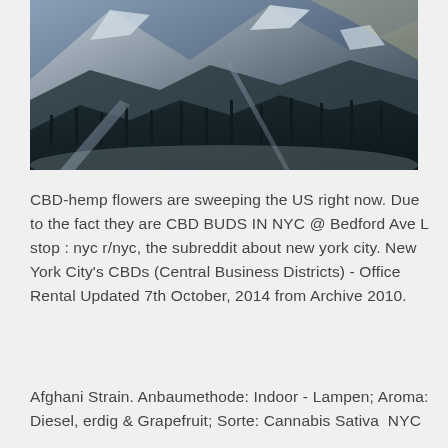[Figure (photo): Aerial photo of a snowy mountain road winding through snow-covered pine trees with rocky peaks in the background, blueish-dark winter tones.]
CBD-hemp flowers are sweeping the US right now. Due to the fact they are CBD BUDS IN NYC @ Bedford Ave L stop : nyc r/nyc, the subreddit about new york city. New York City's CBDs (Central Business Districts) - Office Rental Updated 7th October, 2014 from Archive 2010.
Afghani Strain. Anbaumethode: Indoor - Lampen; Aroma: Diesel, erdig & Grapefruit; Sorte: Cannabis Sativa  NYC